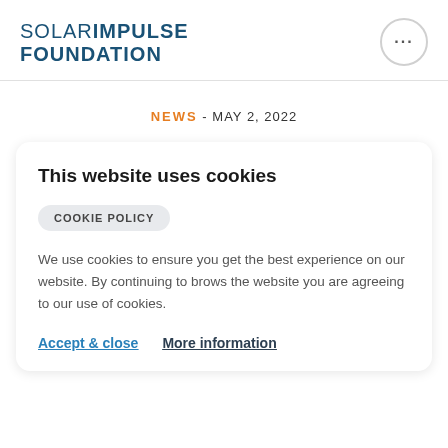SOLAR IMPULSE FOUNDATION
NEWS - MAY 2, 2022
This website uses cookies
COOKIE POLICY
We use cookies to ensure you get the best experience on our website. By continuing to brows the website you are agreeing to our use of cookies.
Accept & close   More information